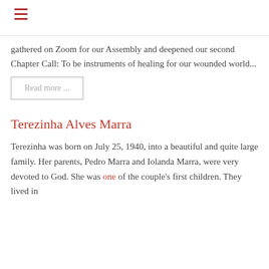☰
gathered on Zoom for our Assembly and deepened our second Chapter Call: To be instruments of healing for our wounded world...
Read more ...
Terezinha Alves Marra
Terezinha was born on July 25, 1940, into a beautiful and quite large family. Her parents, Pedro Marra and Iolanda Marra, were very devoted to God. She was one of the couple's first children. They lived in